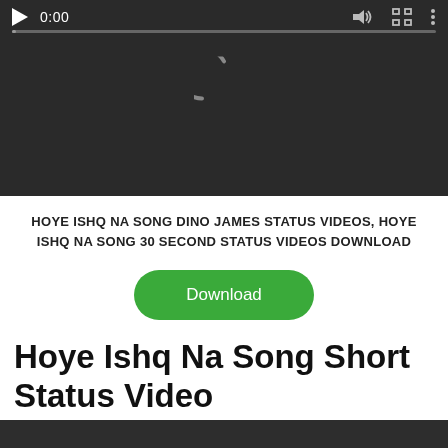[Figure (screenshot): Video player with dark background showing a loading spinner arc in center, playback controls at bottom including play button, time display '0:00', mute, fullscreen, and options icons, with a progress bar.]
HOYE ISHQ NA SONG DINO JAMES STATUS VIDEOS, HOYE ISHQ NA SONG 30 SECOND STATUS VIDEOS DOWNLOAD
[Figure (other): Green rounded rectangle Download button with white text 'Download']
Hoye Ishq Na Song Short Status Video
[Figure (screenshot): Bottom portion of a second dark video player visible at the bottom of the page.]